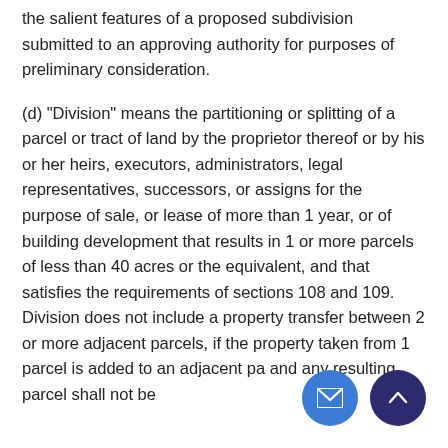the salient features of a proposed subdivision submitted to an approving authority for purposes of preliminary consideration.
(d) "Division" means the partitioning or splitting of a parcel or tract of land by the proprietor thereof or by his or her heirs, executors, administrators, legal representatives, successors, or assigns for the purpose of sale, or lease of more than 1 year, or of building development that results in 1 or more parcels of less than 40 acres or the equivalent, and that satisfies the requirements of sections 108 and 109. Division does not include a property transfer between 2 or more adjacent parcels, if the property taken from 1 parcel is added to an adjacent pa and any resulting parcel shall not be